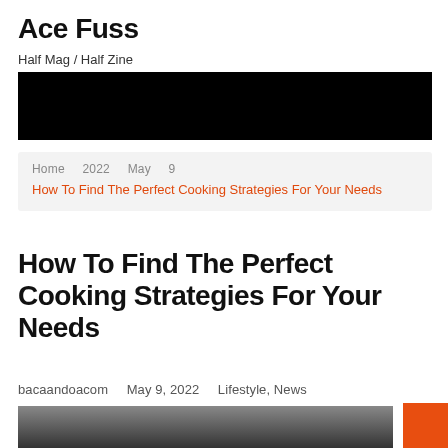Ace Fuss
Half Mag / Half Zine
[Figure (other): Black banner/header image area]
Home  2022  May  9  How To Find The Perfect Cooking Strategies For Your Needs
How To Find The Perfect Cooking Strategies For Your Needs
bacaandoacom   May 9, 2022   Lifestyle, News
[Figure (photo): Partial photo visible at bottom of page]